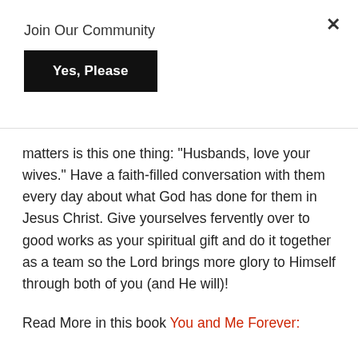Join Our Community
Yes, Please
matters is this one thing: "Husbands, love your wives." Have a faith-filled conversation with them every day about what God has done for them in Jesus Christ. Give yourselves fervently over to good works as your spiritual gift and do it together as a team so the Lord brings more glory to Himself through both of you (and He will)!
Read More in this book You and Me Forever: